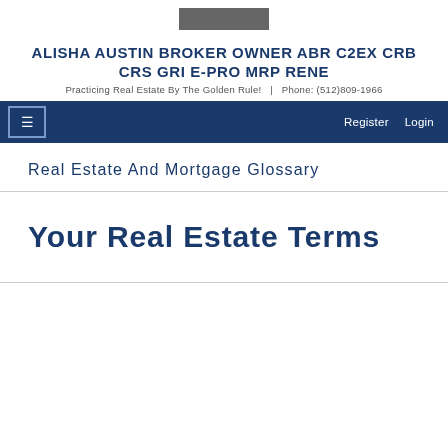[Figure (logo): Small dark logo/image bar in the header]
ALISHA AUSTIN BROKER OWNER ABR C2EX CRB CRS GRI E-PRO MRP RENE
Practicing Real Estate By The Golden Rule!  |  Phone: (512)809-1966
☰  Register  Login
Real Estate And Mortgage Glossary
Your Real Estate Terms